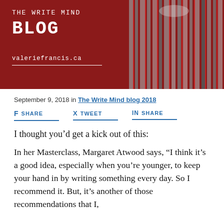[Figure (illustration): Blog banner with dark red background, 'THE WRITE MIND BLOG' text in white monospace font, 'valeriefrancis.ca' URL, and a black-and-white portrait photo of a woman with vertical stripe design effect on the right side.]
September 9, 2018 in The Write Mind blog 2018
SHARE   TWEET   SHARE
I thought you'd get a kick out of this:
In her Masterclass, Margaret Atwood says, “I think it’s a good idea, especially when you’re younger, to keep your hand in by writing something every day. So I recommend it. But, it’s another of those recommendations that I,